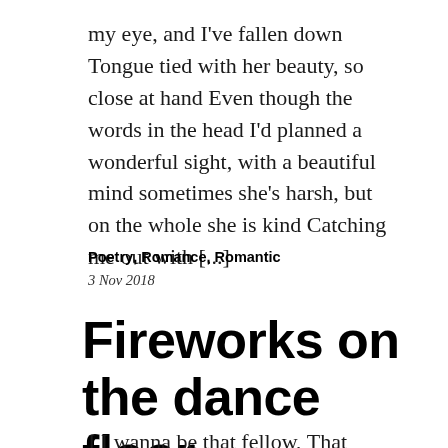my eye, and I've fallen down Tongue tied with her beauty, so close at hand Even though the words in the head I'd planned a wonderful sight, with a beautiful mind sometimes she's harsh, but on the whole she is kind Catching me out with [...]
Poetry, Romance, Romantic
3 Nov 2018
Fireworks on the dance floor
I I wanna be that fellow, That dances with the